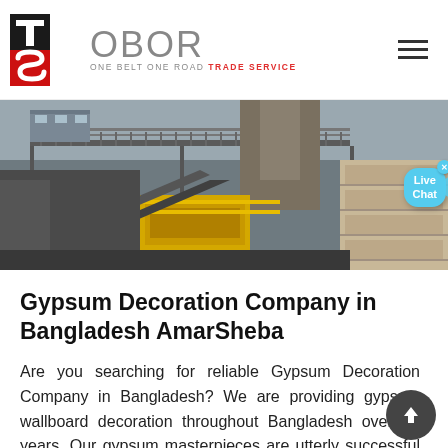OBOR — ONE BELT ONE ROAD TRADE SERVICE
[Figure (photo): Industrial mining or quarrying facility with conveyor belts, yellow machinery, metal walkways and structures, and stacked concrete or stone blocks on the right side]
Gypsum Decoration Company in Bangladesh AmarSheba
Are you searching for reliable Gypsum Decoration Company in Bangladesh? We are providing gypsum wallboard decoration throughout Bangladesh over 19 years. Our gypsum masterpieces are utterly successful in